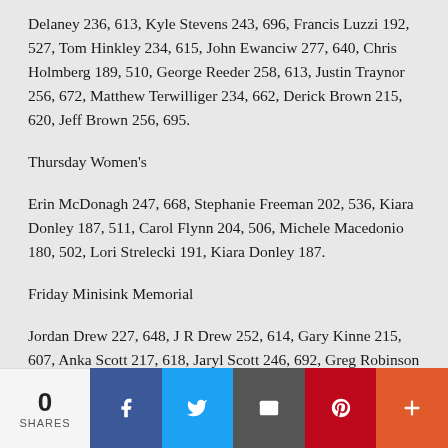Delaney 236, 613, Kyle Stevens 243, 696, Francis Luzzi 192, 527, Tom Hinkley 234, 615, John Ewanciw 277, 640, Chris Holmberg 189, 510, George Reeder 258, 613, Justin Traynor 256, 672, Matthew Terwilliger 234, 662, Derick Brown 215, 620, Jeff Brown 256, 695.
Thursday Women's
Erin McDonagh 247, 668, Stephanie Freeman 202, 536, Kiara Donley 187, 511, Carol Flynn 204, 506, Michele Macedonio 180, 502, Lori Strelecki 191, Kiara Donley 187.
Friday Minisink Memorial
Jordan Drew 227, 648, J R Drew 252, 614, Gary Kinne 215, 607, Anka Scott 217, 618, Jaryl Scott 246, 692, Greg Robinson 236, 612, Sherri Laird 203, 573, Kaitlyn Yennie 201, Brian